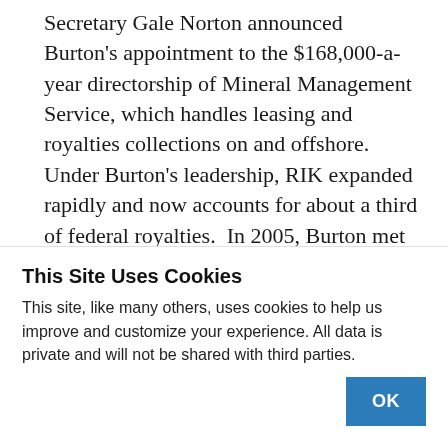Secretary Gale Norton announced Burton's appointment to the $168,000-a-year directorship of Mineral Management Service, which handles leasing and royalties collections on and offshore. Under Burton's leadership, RIK expanded rapidly and now accounts for about a third of federal royalties.  In 2005, Burton met with the five Wyoming state land commissioners in Cheyenne to urge putting Wyoming's share of gas royalties into a new federal natural gas RIK program. On the motion of the state treasurer, Cynthia Lummis, the
This Site Uses Cookies
This site, like many others, uses cookies to help us improve and customize your experience. All data is private and will not be shared with third parties.